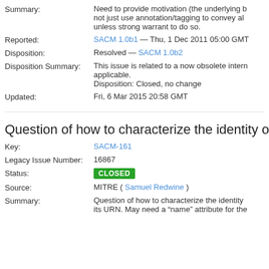Summary: Need to provide motivation (the underlying ... not just use annotation/tagging to convey al... unless strong warrant to do so.
Reported: SACM 1.0b1 — Thu, 1 Dec 2011 05:00 GMT
Disposition: Resolved — SACM 1.0b2
Disposition Summary: This issue is related to a now obsolete intern... applicable. Disposition: Closed, no change
Updated: Fri, 6 Mar 2015 20:58 GMT
Question of how to characterize the identity of th...
Key: SACM-161
Legacy Issue Number: 16867
Status: CLOSED
Source: MITRE ( Samuel Redwine )
Summary: Question of how to characterize the identity... its URN. May need a "name" attribute for the...